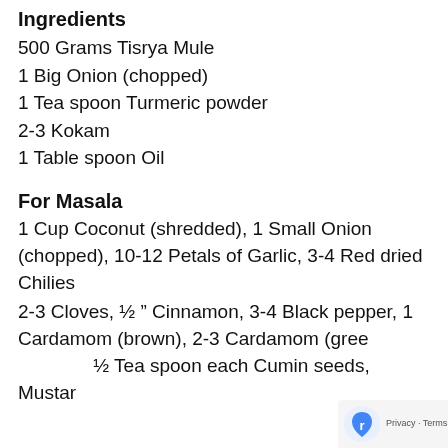Ingredients
500 Grams Tisrya Mule
1 Big Onion (chopped)
1 Tea spoon Turmeric powder
2-3 Kokam
1 Table spoon Oil
For Masala
1 Cup Coconut (shredded), 1 Small Onion (chopped), 10-12 Petals of Garlic, 3-4 Red dried Chilies
2-3 Cloves, ½ ” Cinnamon, 3-4 Black pepper, 1 Cardamom (brown), 2-3 Cardamom (green), ½ Tea spoon each Cumin seeds, Mustard